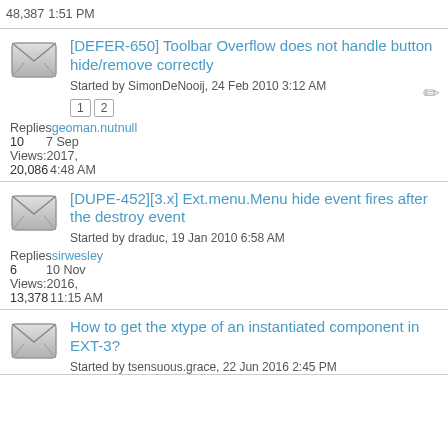48,387 1:51 PM
[DEFER-650] Toolbar Overflow does not handle button hide/remove correctly
Started by SimonDeNooij, 24 Feb 2010 3:12 AM
Page links: 1, 2
Replies: geoman.nutnull
10  7 Sep
Views: 2017,
20,086 4:48 AM
[DUPE-452][3.x] Ext.menu.Menu hide event fires after the destroy event
Started by draduc, 19 Jan 2010 6:58 AM
Replies: sirwesley
6  10 Nov
Views: 2016,
13,378 11:15 AM
How to get the xtype of an instantiated component in EXT-3?
Started by tsensuous.grace, 22 Jun 2016 2:45 PM